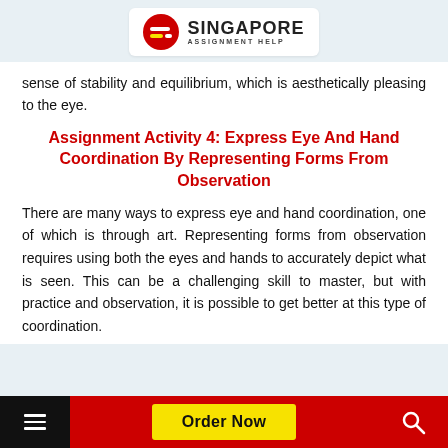[Figure (logo): Singapore Assignment Help logo with red circular icon and text]
sense of stability and equilibrium, which is aesthetically pleasing to the eye.
Assignment Activity 4: Express Eye And Hand Coordination By Representing Forms From Observation
There are many ways to express eye and hand coordination, one of which is through art. Representing forms from observation requires using both the eyes and hands to accurately depict what is seen. This can be a challenging skill to master, but with practice and observation, it is possible to get better at this type of coordination.
Order Now